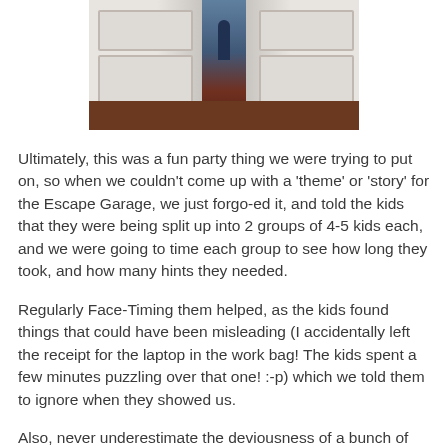[Figure (photo): A hallway with white bifold or double doors open in the center, with a darkened corridor visible behind and a person partially visible, and a dark wood floor at the bottom.]
Ultimately, this was a fun party thing we were trying to put on, so when we couldn't come up with a 'theme' or 'story' for the Escape Garage, we just forgo-ed it, and told the kids that they were being split up into 2 groups of 4-5 kids each, and we were going to time each group to see how long they took, and how many hints they needed.
Regularly Face-Timing them helped, as the kids found things that could have been misleading (I accidentally left the receipt for the laptop in the work bag! The kids spent a few minutes puzzling over that one! :-p) which we told them to ignore when they showed us.
Also, never underestimate the deviousness of a bunch of 13-